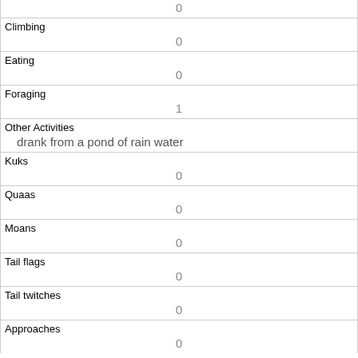| Field | Value |
| --- | --- |
|  | 0 |
| Climbing | 0 |
| Eating | 0 |
| Foraging | 1 |
| Other Activities | drank from a pond of rain water |
| Kuks | 0 |
| Quaas | 0 |
| Moans | 0 |
| Tail flags | 0 |
| Tail twitches | 0 |
| Approaches | 0 |